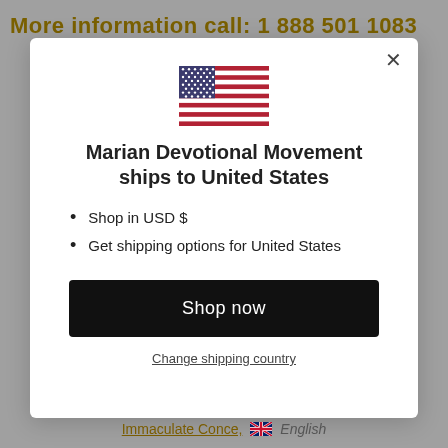More information call: 1 888 501 1083
[Figure (illustration): US flag SVG illustration centered in modal dialog]
Marian Devotional Movement ships to United States
Shop in USD $
Get shipping options for United States
Shop now
Change shipping country
Immaculate Conce, [UK flag icon] English